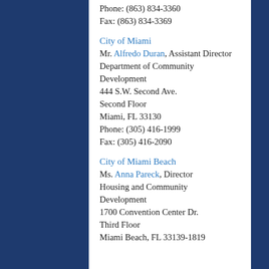Phone: (863) 834-3360
Fax: (863) 834-3369
City of Miami
Mr. Alfredo Duran, Assistant Director
Department of Community Development
444 S.W. Second Ave.
Second Floor
Miami, FL 33130
Phone: (305) 416-1999
Fax: (305) 416-2090
City of Miami Beach
Ms. Anna Pareck, Director
Housing and Community Development
1700 Convention Center Dr.
Third Floor
Miami Beach, FL 33139-1819